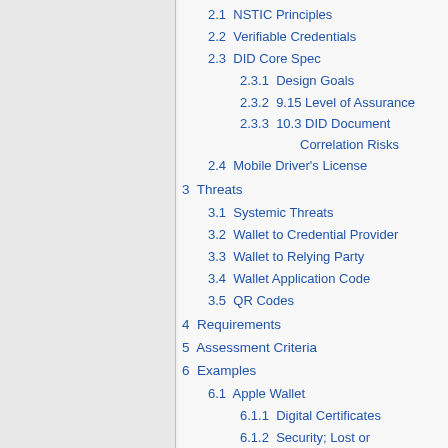2.1  NSTIC Principles
2.2  Verifiable Credentials
2.3  DID Core Spec
2.3.1  Design Goals
2.3.2  9.15 Level of Assurance
2.3.3  10.3 DID Document Correlation Risks
2.4  Mobile Driver's License
3  Threats
3.1  Systemic Threats
3.2  Wallet to Credential Provider
3.3  Wallet to Relying Party
3.4  Wallet Application Code
3.5  QR Codes
4  Requirements
5  Assessment Criteria
6  Examples
6.1  Apple Wallet
6.1.1  Digital Certificates
6.1.2  Security; Lost or